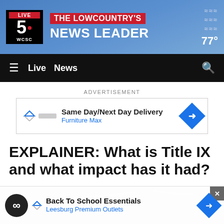LIVE 5 WCSC — THE LOWCOUNTRY'S NEWS LEADER — 77°
[Figure (screenshot): WCSC Live 5 news website navigation bar with hamburger menu, Live, News links and search icon on black background]
ADVERTISEMENT
[Figure (screenshot): Google ad: Same Day/Next Day Delivery — Furniture Max]
EXPLAINER: What is Title IX and what impact has it had?
[Figure (photo): Grayscale architectural photo, partially visible below the article title]
[Figure (screenshot): Google ad banner: Back To School Essentials — Leesburg Premium Outlets]